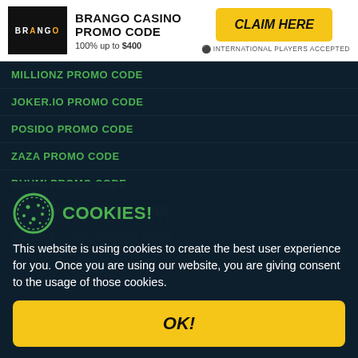BRANGO CASINO PROMO CODE | 100% up to $400 | CLAIM HERE | INTERNATIONAL PLAYERS ACCEPTED
MILLIONZ PROMO CODE
JOKER.IO PROMO CODE
POSIDO PROMO CODE
ZAZA PROMO CODE
BUUMI PROMO CODE
NEEDFORSPIN PROMO CODE
RUNBEESLOTS PROMO CODE
COOKIES!
This website is using cookies to create the best user experience for you. Once you are using our website, you are giving consent to the usage of those cookies.
OK!